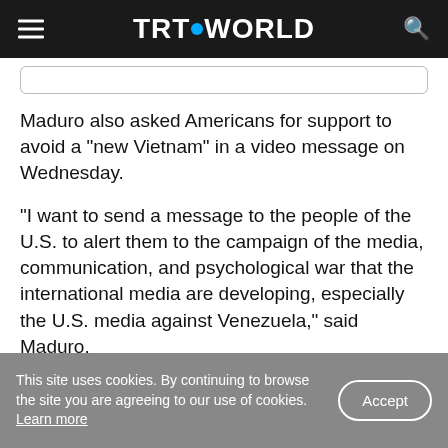TRT WORLD
Maduro also asked Americans for support to avoid a "new Vietnam" in a video message on Wednesday.
"I want to send a message to the people of the U.S. to alert them to the campaign of the media, communication, and psychological war that the international media are developing, especially the U.S. media against Venezuela," said Maduro.
This site uses cookies. By continuing to browse the site you are agreeing to our use of cookies. Learn more